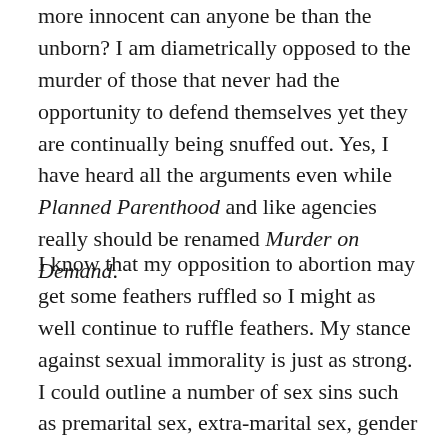more innocent can anyone be than the unborn? I am diametrically opposed to the murder of those that never had the opportunity to defend themselves yet they are continually being snuffed out. Yes, I have heard all the arguments even while Planned Parenthood and like agencies really should be renamed Murder on Demand.
I know that my opposition to abortion may get some feathers ruffled so I might as well continue to ruffle feathers. My stance against sexual immorality is just as strong. I could outline a number of sex sins such as premarital sex, extra-marital sex, gender reassignment, and pedophilia but I will limit this discussion to the hot button issue of the day which is same-sex marriage. While I have absolutely no agreement with homosexual